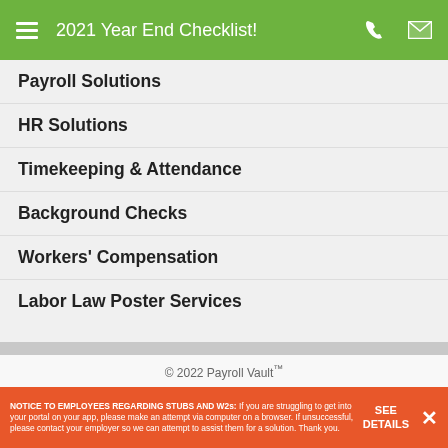2021 Year End Checklist!
Payroll Solutions
HR Solutions
Timekeeping & Attendance
Background Checks
Workers' Compensation
Labor Law Poster Services
© 2022 Payroll Vault™
NOTICE TO EMPLOYEES REGARDING STUBS AND W2s: If you are struggling to get into your portal on your app, please make an attempt via computer on a browser. If unsuccessful, please contact your employer so we can attempt to assist them for a solution. Thank you.